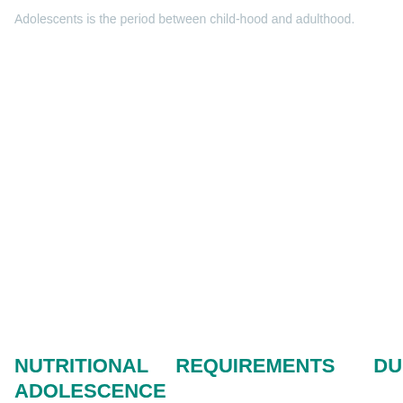Adolescents is the period between child-hood and adulthood.
NUTRITIONAL REQUIREMENTS DURING ADOLESCENCE